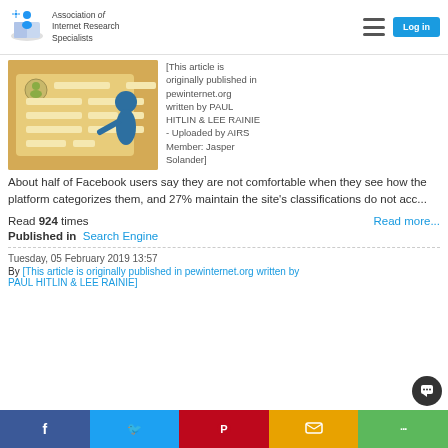Association of Internet Research Specialists
[Figure (illustration): Illustration of a person standing in front of a form/registration screen on a yellow/tan background]
[This article is originally published in pewinternet.org written by PAUL HITLIN & LEE RAINIE - Uploaded by AIRS Member: Jasper Solander] About half of Facebook users say they are not comfortable when they see how the platform categorizes them, and 27% maintain the site's classifications do not acc...
Read 924 times
Read more...
Published in Search Engine
Tuesday, 05 February 2019 13:57
By [This article is originally published in pewinternet.org written by PAUL HITLIN & LEE RAINIE]